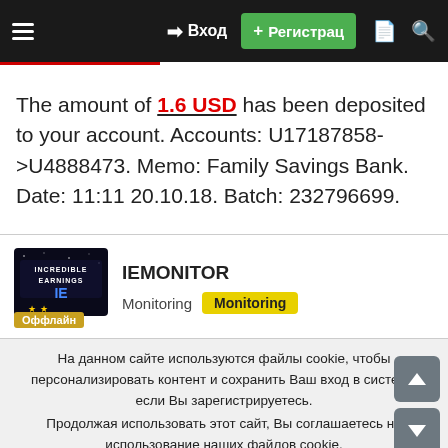Вход  Регистрац
The amount of 1.6 USD has been deposited to your account. Accounts: U17187858->U4888473. Memo: Family Savings Bank. Date: 11:11 20.10.18. Batch: 232796699.
[Figure (logo): INCREDIBLE EARNINGS IE logo with stars, dark background, Оффлайн badge]
IEMONITOR
Monitoring  Monitoring
На данном сайте используются файлы cookie, чтобы персонализировать контент и сохранить Ваш вход в систему, если Вы зарегистрируетесь.
Продолжая использовать этот сайт, Вы соглашаетесь на использование наших файлов cookie.
✓ Принять   Узнать больше...